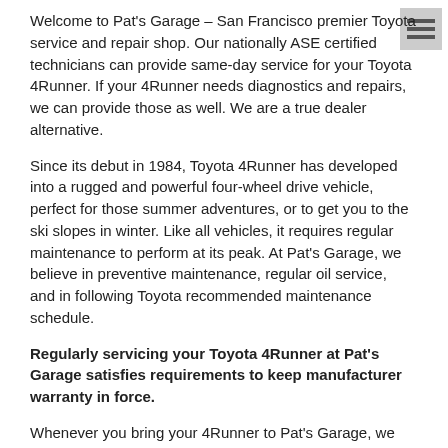Welcome to Pat's Garage – San Francisco premier Toyota service and repair shop. Our nationally ASE certified technicians can provide same-day service for your Toyota 4Runner. If your 4Runner needs diagnostics and repairs, we can provide those as well. We are a true dealer alternative.
Since its debut in 1984, Toyota 4Runner has developed into a rugged and powerful four-wheel drive vehicle, perfect for those summer adventures, or to get you to the ski slopes in winter. Like all vehicles, it requires regular maintenance to perform at its peak. At Pat's Garage, we believe in preventive maintenance, regular oil service, and in following Toyota recommended maintenance schedule.
Regularly servicing your Toyota 4Runner at Pat's Garage satisfies requirements to keep manufacturer warranty in force.
Whenever you bring your 4Runner to Pat's Garage, we provide a complimentary inspection – we look at the tires, adjust tire pressure, check belts and hoses, look at the battery, and a number of other subsystems. As a result, you get a snapshot of the overall health of your vehicle at that point in time.
In addition to the service with a smile, whenever you come to Pat's Garage...